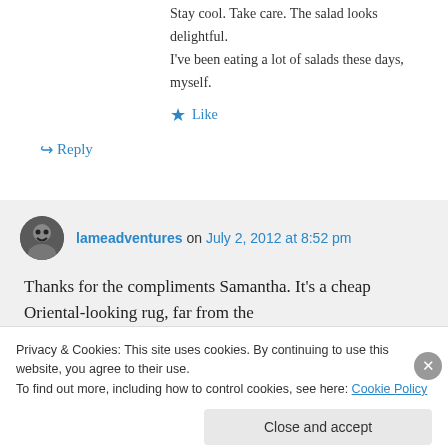Stay cool. Take care. The salad looks delightful. I've been eating a lot of salads these days, myself.
★ Like
↪ Reply
lameadventures on July 2, 2012 at 8:52 pm
Thanks for the compliments Samantha. It's a cheap Oriental-looking rug, far from the
Privacy & Cookies: This site uses cookies. By continuing to use this website, you agree to their use. To find out more, including how to control cookies, see here: Cookie Policy
Close and accept